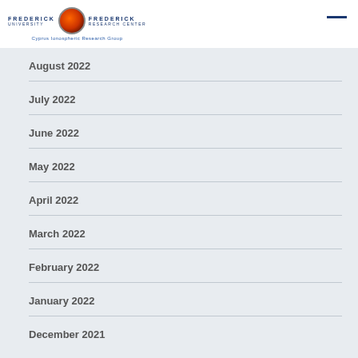Frederick University | Frederick Research Center | Cyprus Ionospheric Research Group
August 2022
July 2022
June 2022
May 2022
April 2022
March 2022
February 2022
January 2022
December 2021